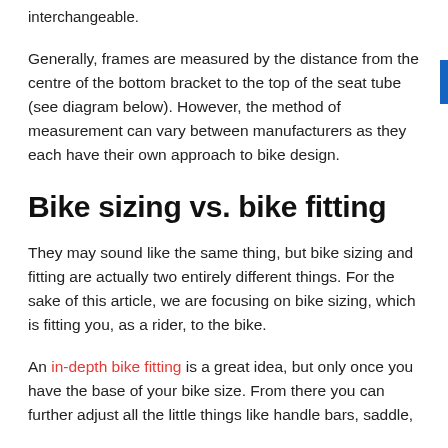interchangeable.
Generally, frames are measured by the distance from the centre of the bottom bracket to the top of the seat tube (see diagram below). However, the method of measurement can vary between manufacturers as they each have their own approach to bike design.
Bike sizing vs. bike fitting
They may sound like the same thing, but bike sizing and fitting are actually two entirely different things. For the sake of this article, we are focusing on bike sizing, which is fitting you, as a rider, to the bike.
An in-depth bike fitting is a great idea, but only once you have the base of your bike size. From there you can further adjust all the little things like handle bars, saddle,